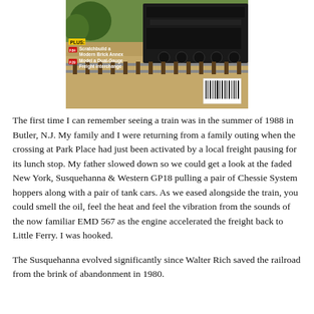[Figure (photo): Magazine cover showing a model railroad scene with a locomotive on tracks, gravel ballast, and green scenery. Text overlay reads 'PLUS:' with bullet items 'Scratchbuild a Modern Brick Annex' and 'Model a Dual-Gauge Freight Interchange'. A barcode is visible in the lower right.]
The first time I can remember seeing a train was in the summer of 1988 in Butler, N.J. My family and I were returning from a family outing when the crossing at Park Place had just been activated by a local freight pausing for its lunch stop. My father slowed down so we could get a look at the faded New York, Susquehanna & Western GP18 pulling a pair of Chessie System hoppers along with a pair of tank cars. As we eased alongside the train, you could smell the oil, feel the heat and feel the vibration from the sounds of the now familiar EMD 567 as the engine accelerated the freight back to Little Ferry. I was hooked.
The Susquehanna evolved significantly since Walter Rich saved the railroad from the brink of abandonment in 1980.